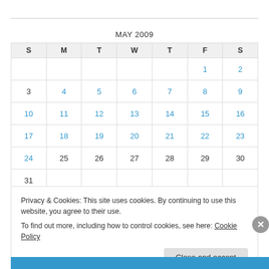MAY 2009
| S | M | T | W | T | F | S |
| --- | --- | --- | --- | --- | --- | --- |
|  |  |  |  |  | 1 | 2 |
| 3 | 4 | 5 | 6 | 7 | 8 | 9 |
| 10 | 11 | 12 | 13 | 14 | 15 | 16 |
| 17 | 18 | 19 | 20 | 21 | 22 | 23 |
| 24 | 25 | 26 | 27 | 28 | 29 | 30 |
| 31 |  |  |  |  |  |  |
« Apr   Jun »
Privacy & Cookies: This site uses cookies. By continuing to use this website, you agree to their use.
To find out more, including how to control cookies, see here: Cookie Policy
Close and accept